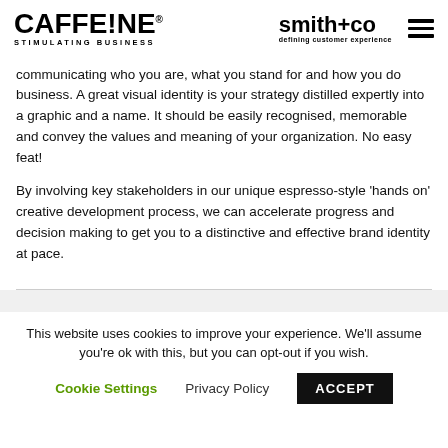CAFFE!NE STIMULATING BUSINESS | smith+co defining customer experience
communicating who you are, what you stand for and how you do business. A great visual identity is your strategy distilled expertly into a graphic and a name. It should be easily recognised, memorable and convey the values and meaning of your organization. No easy feat!
By involving key stakeholders in our unique espresso-style 'hands on' creative development process, we can accelerate progress and decision making to get you to a distinctive and effective brand identity at pace.
This website uses cookies to improve your experience. We'll assume you're ok with this, but you can opt-out if you wish.
Cookie Settings   Privacy Policy   ACCEPT